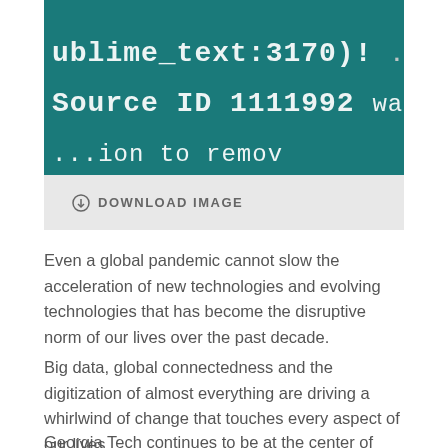[Figure (screenshot): A dark teal/green screen showing code text: 'ublime_text:3170)! ...' and 'Source ID 1111992 was' and '...ion to remov...' in white monospace font]
⊕ DOWNLOAD IMAGE
Even a global pandemic cannot slow the acceleration of new technologies and evolving technologies that has become the disruptive norm of our lives over the past decade.
Big data, global connectedness and the digitization of almost everything are driving a whirlwind of change that touches every aspect of our lives.
Georgia Tech continues to be at the center of that of that maelstrom of progress, pushing